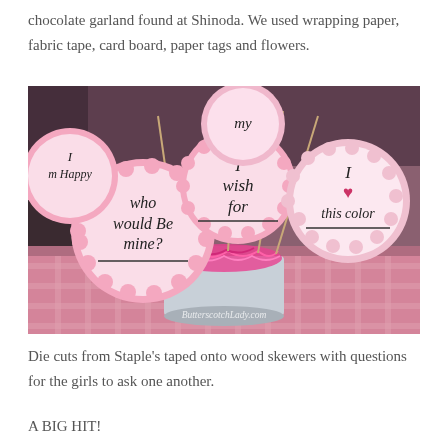chocolate garland found at Shinoda. We used wrapping paper, fabric tape, card board, paper tags and flowers.
[Figure (photo): Pink scalloped die-cut card signs on wood skewers in a tin with pink shredded paper filler. Signs read: 'Who would Be mine?', 'I wish for', 'I ♥ this color', 'I m Happy', 'my', 'I m my vo ffe... is'. Watermark: ButterscotchLady.com]
Die cuts from Staple's taped onto wood skewers with questions for the girls to ask one another.
A BIG HIT!